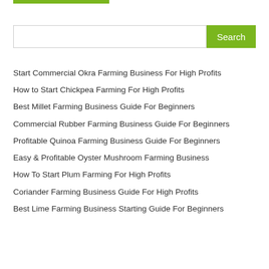[Figure (other): Green horizontal bar at top left of page]
[Figure (screenshot): Search input field with green Search button]
Start Commercial Okra Farming Business For High Profits
How to Start Chickpea Farming For High Profits
Best Millet Farming Business Guide For Beginners
Commercial Rubber Farming Business Guide For Beginners
Profitable Quinoa Farming Business Guide For Beginners
Easy & Profitable Oyster Mushroom Farming Business
How To Start Plum Farming For High Profits
Coriander Farming Business Guide For High Profits
Best Lime Farming Business Starting Guide For Beginners